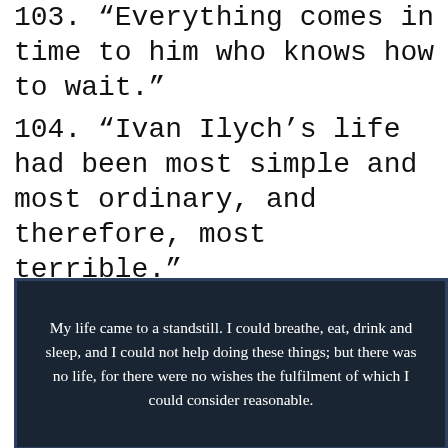103. “Everything comes in time to him who knows how to wait.”
104. “Ivan Ilych’s life had been most simple and most ordinary, and therefore, most terrible.”
[Figure (other): Dark blue/black background card with white text quote: My life came to a standstill. I could breathe, eat, drink and sleep, and I could not help doing these things; but there was no life, for there were no wishes the fulfilment of which I could consider reasonable.]